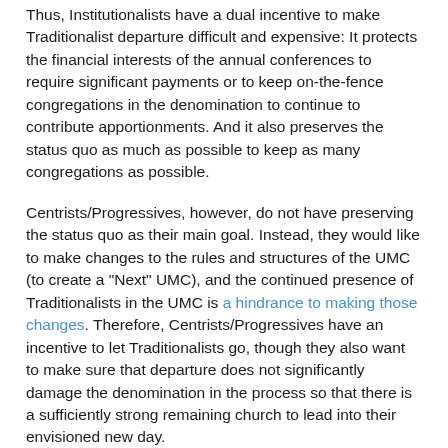Thus, Institutionalists have a dual incentive to make Traditionalist departure difficult and expensive: It protects the financial interests of the annual conferences to require significant payments or to keep on-the-fence congregations in the denomination to continue to contribute apportionments. And it also preserves the status quo as much as possible to keep as many congregations as possible.
Centrists/Progressives, however, do not have preserving the status quo as their main goal. Instead, they would like to make changes to the rules and structures of the UMC (to create a "Next" UMC), and the continued presence of Traditionalists in the UMC is a hindrance to making those changes. Therefore, Centrists/Progressives have an incentive to let Traditionalists go, though they also want to make sure that departure does not significantly damage the denomination in the process so that there is a sufficiently strong remaining church to lead into their envisioned new day.